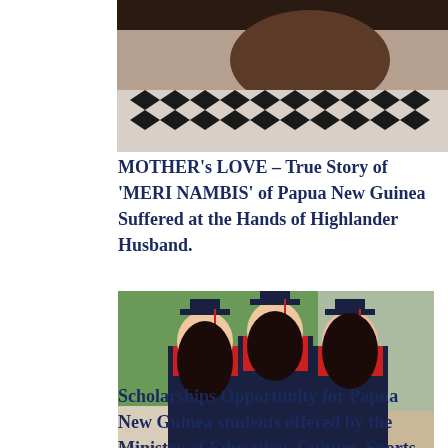[Figure (photo): Close-up photo of a person wearing a patterned black and white dress, upper body and neck visible against a grey background.]
MOTHER's LOVE – True Story of 'MERI NAMBIS' of Papua New Guinea Suffered at the Hands of Highlander Husband.
[Figure (photo): Three female graduates in dark navy and red academic gowns and mortarboard caps, standing together outdoors with trees in the background.]
Scholarships Opportunity for Papua New Guinea students offered by the Ministry of Education, Culture, Sports, Science and